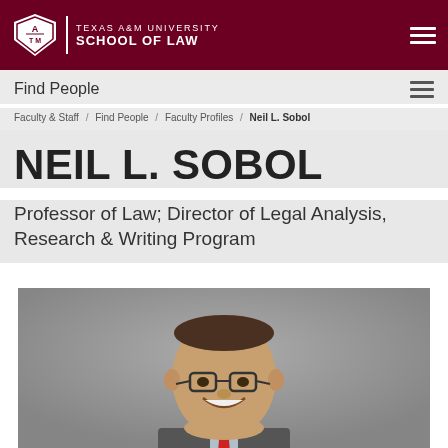TEXAS A&M UNIVERSITY SCHOOL OF LAW
Find People
Faculty & Staff / Find People / Faculty Profiles / Neil L. Sobol
NEIL L. SOBOL
Professor of Law; Director of Legal Analysis, Research & Writing Program
[Figure (photo): Headshot of Neil L. Sobol, a man with glasses wearing a suit and red tie, smiling, against a gray background]